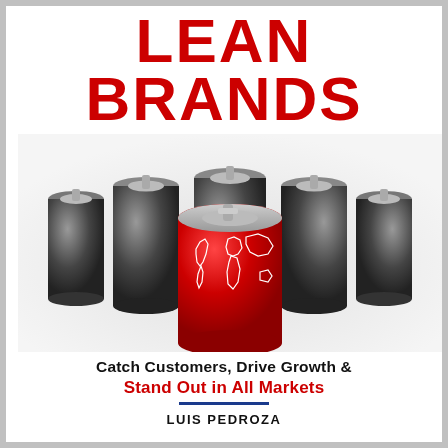LEAN BRANDS
[Figure (illustration): A red beverage can with a white world map outline printed on it stands in front of several dark/black beverage cans arranged behind it, suggesting the red can stands out from the crowd.]
Catch Customers, Drive Growth &
Stand Out in All Markets
LUIS PEDROZA